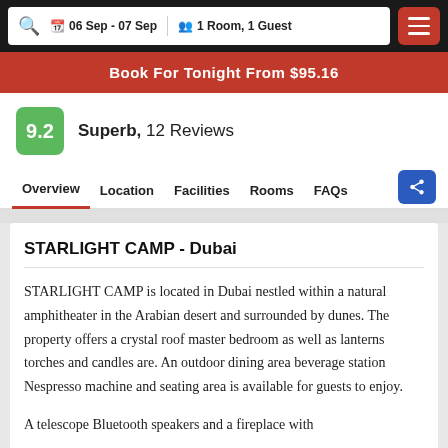06 Sep - 07 Sep  1 Room, 1 Guest
Book For Tonight From $95.16
9.2  Superb, 12 Reviews
Overview  Location  Facilities  Rooms  FAQs
STARLIGHT CAMP - Dubai
STARLIGHT CAMP is located in Dubai nestled within a natural amphitheater in the Arabian desert and surrounded by dunes. The property offers a crystal roof master bedroom as well as lanterns torches and candles are. An outdoor dining area beverage station Nespresso machine and seating area is available for guests to enjoy.
A telescope Bluetooth speakers and a fireplace with